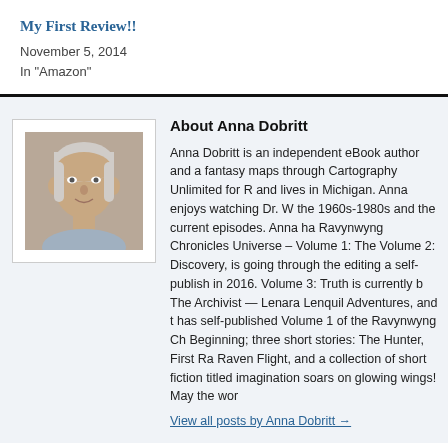My First Review!!
November 5, 2014
In "Amazon"
About Anna Dobritt
Anna Dobritt is an independent eBook author and a fantasy maps through Cartography Unlimited for R and lives in Michigan. Anna enjoys watching Dr. W the 1960s-1980s and the current episodes. Anna ha Ravynwyng Chronicles Universe – Volume 1: The Volume 2: Discovery, is going through the editing a self-publish in 2016. Volume 3: Truth is currently b The Archivist — Lenara Lenquil Adventures, and t has self-published Volume 1 of the Ravynwyng Ch Beginning; three short stories: The Hunter, First Ra Raven Flight, and a collection of short fiction titled imagination soars on glowing wings! May the wor
View all posts by Anna Dobritt →